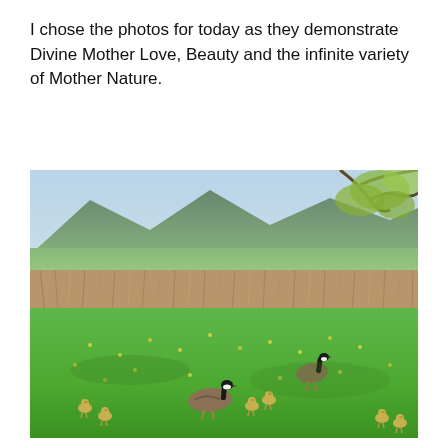I chose the photos for today as they demonstrate Divine Mother Love, Beauty and the infinite variety of Mother Nature.
[Figure (photo): Outdoor nature photo showing Canada geese with goslings walking on a bright green grassy field with yellow wildflowers. Behind them is a dense stand of tall brown reeds/cattails, and beyond that a green valley with mountains in the background. Tree branches with fresh spring leaves hang in the upper right corner.]